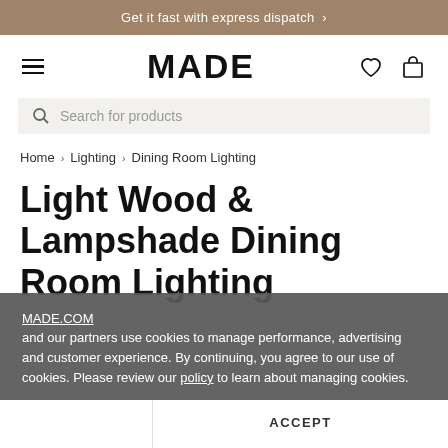Get it fast with express dispatch >
[Figure (logo): MADE logo with hamburger menu, heart and bag icons in navigation bar]
Search for products
Home > Lighting > Dining Room Lighting
Light Wood & Lampshade Dining Room Lighting
MADE.COM and our partners use cookies to manage performance, advertising and customer experience. By continuing, you agree to our use of cookies. Please review our policy to learn about managing cookies.
ACCEPT